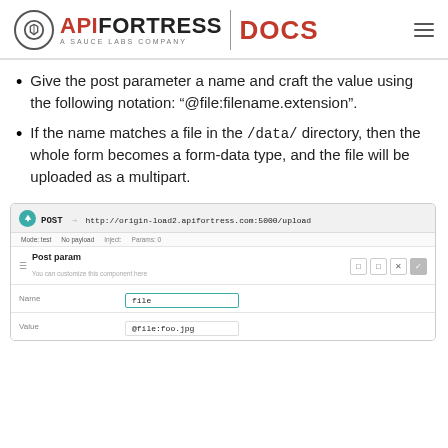API FORTRESS | DOCS
Give the post parameter a name and craft the value using the following notation: "@file:filename.extension".
If the name matches a file in the /data/ directory, then the whole form becomes a form-data type, and the file will be uploaded as a multipart.
[Figure (screenshot): Screenshot of API Fortress test editor showing a POST request to http://origin-load2.apifortress.com:5000/upload with a Post param component. Name field contains 'file' and Value field contains '@file:foo.jpg'.]